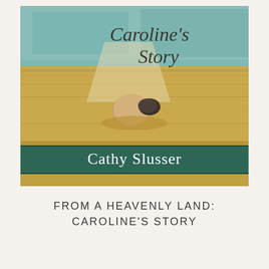[Figure (illustration): Book cover of 'Caroline's Story' by Cathy Slusser. The cover features a collage-style background with sandy/earthy tones and a teal/aqua section at the top. The title 'Caroline's Story' is written in an elegant italic script font. A dark green banner near the bottom contains the author name 'Cathy Slusser' in white serif text. A small stone or pebble with a dark stone beside it sits in sandy ground.]
FROM A HEAVENLY LAND: CAROLINE'S STORY